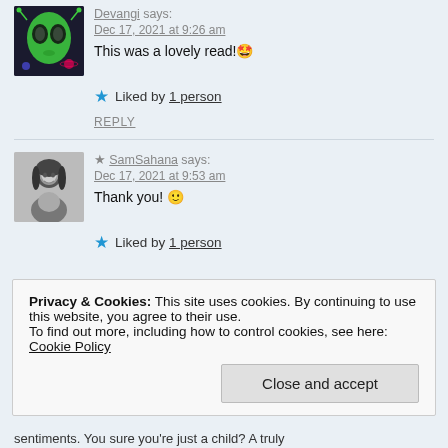Devangi says:
Dec 17, 2021 at 9:26 am
This was a lovely read! 🤩
★ Liked by 1 person
REPLY
★ SamSahana says:
Dec 17, 2021 at 9:53 am
Thank you! 🙂
★ Liked by 1 person
Privacy & Cookies: This site uses cookies. By continuing to use this website, you agree to their use.
To find out more, including how to control cookies, see here: Cookie Policy
Close and accept
sentiments. You sure you're just a child? A truly